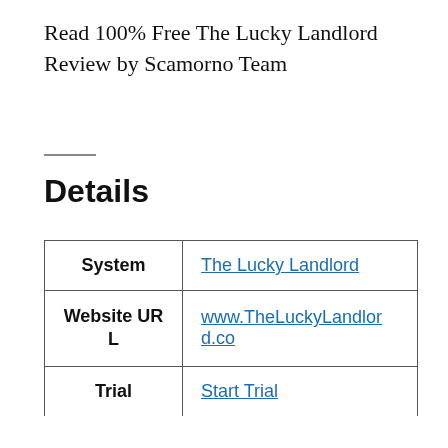Read 100% Free The Lucky Landlord Review by Scamorno Team
Details
| System |  |
| --- | --- |
| System | The Lucky Landlord |
| Website URL | www.TheLuckyLandlord.co |
| Trial | Start Trial |